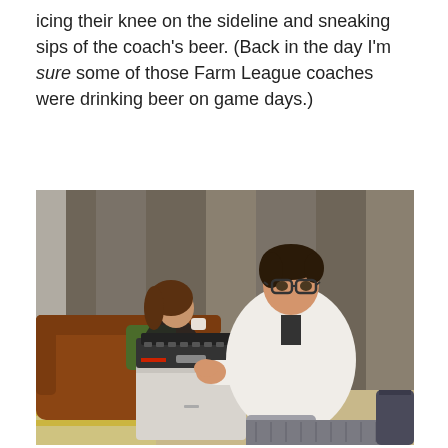icing their knee on the sideline and sneaking sips of the coach's beer. (Back in the day I'm sure some of those Farm League coaches were drinking beer on game days.)
[Figure (photo): A man wearing glasses and a white jacket sits on a knitted pouf/ottoman and uses a vintage typewriter placed on a white cabinet. In the background, a woman in black sits on a brown leather sofa, appearing to hold a cup. The setting has grey curtains as a backdrop.]